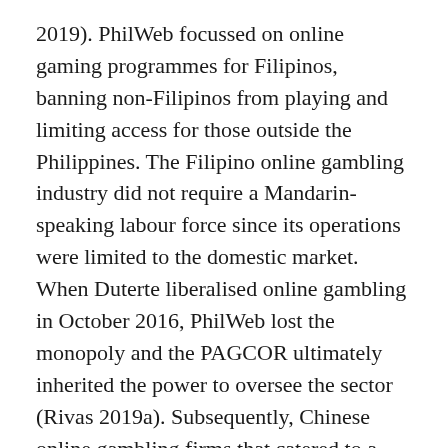2019). PhilWeb focussed on online gaming programmes for Filipinos, banning non-Filipinos from playing and limiting access for those outside the Philippines. The Filipino online gambling industry did not require a Mandarin-speaking labour force since its operations were limited to the domestic market. When Duterte liberalised online gambling in October 2016, PhilWeb lost the monopoly and the PAGCOR ultimately inherited the power to oversee the sector (Rivas 2019a). Subsequently, Chinese online gambling firms that catered to a Mandarin-speaking audience started entering the country in droves, requiring Mandarin speakers for their operations.